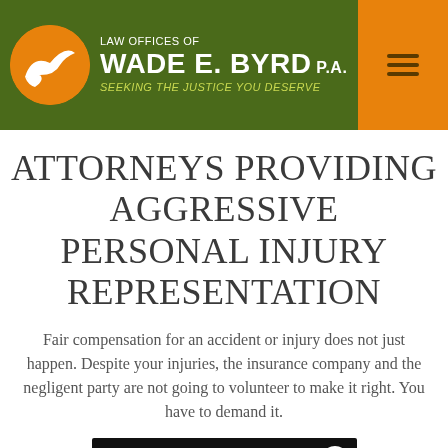Law Offices of Wade E. Byrd P.A. — Seeking the Justice You Deserve
ATTORNEYS PROVIDING AGGRESSIVE PERSONAL INJURY REPRESENTATION
Fair compensation for an accident or injury does not just happen. Despite your injuries, the insurance company and the negligent party are not going to volunteer to make it right. You have to demand it.
[Figure (screenshot): Video player showing error message: 'This video is either unavailable or not supported in this browser.' with an OK button and close (X) button.]